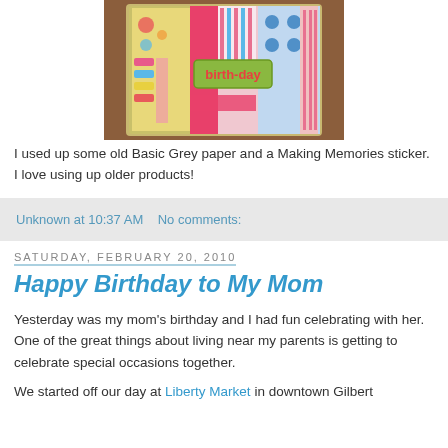[Figure (photo): Birthday card craft project featuring bright pink, blue, and patterned paper pieces arranged in a collage style with a 'birth-day' sticker in the center, displayed on a wooden surface.]
I used up some old Basic Grey paper and a Making Memories sticker. I love using up older products!
Unknown at 10:37 AM   No comments:
Saturday, February 20, 2010
Happy Birthday to My Mom
Yesterday was my mom's birthday and I had fun celebrating with her. One of the great things about living near my parents is getting to celebrate special occasions together.
We started off our day at Liberty Market in downtown Gilbert